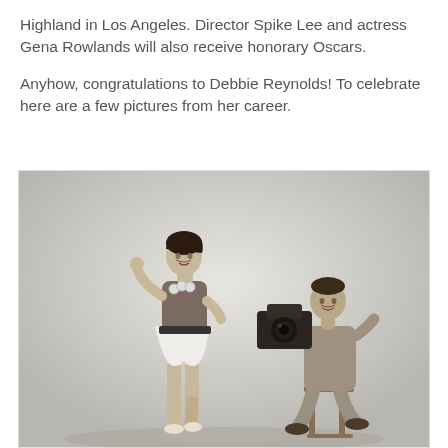Highland in Los Angeles. Director Spike Lee and actress Gena Rowlands will also receive honorary Oscars.
Anyhow, congratulations to Debbie Reynolds! To celebrate here are a few pictures from her career.
[Figure (photo): Black and white vintage photo of a young woman in a short skirt and fitted top posing while a man kneeling on a stool holds a camera up toward her.]